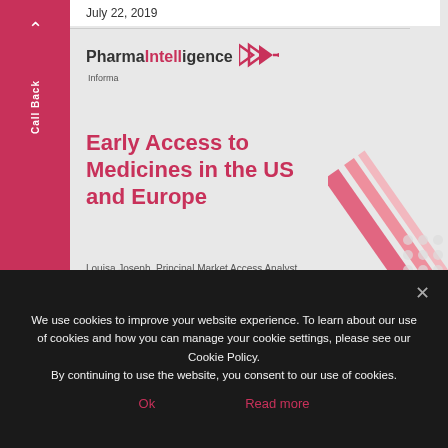July 22, 2019
[Figure (logo): PharmaIntelligence Informa logo with stylized double chevron arrows in pink/red]
Early Access to Medicines in the US and Europe
Louisa Joseph, Principal Market Access Analyst
July 2019
We use cookies to improve your website experience. To learn about our use of cookies and how you can manage your cookie settings, please see our Cookie Policy.
By continuing to use the website, you consent to our use of cookies.
Ok
Read more